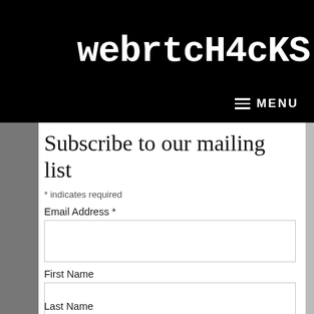webrtcH4cKS:~$
MENU
Subscribe to our mailing list
* indicates required
Email Address *
First Name
Last Name